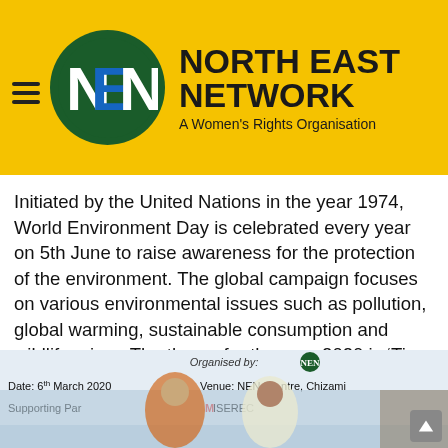[Figure (logo): North East Network logo: green circle with NEN letters in white/blue, yellow background header with organization name and tagline]
Initiated by the United Nations in the year 1974, World Environment Day is celebrated every year on 5th June to raise awareness for the protection of the environment. The global campaign focuses on various environmental issues such as pollution, global warming, sustainable consumption and wildlife crime. The theme for the year 2020 is ‘Time for Nature’...
[Figure (photo): Event photo showing two women at a NEN event, with a banner visible reading: Organised by NEN, Date: 6th March 2020, Venue: NEN Resource Centre Chizami, Supporting Partners logos including Misereor and others]